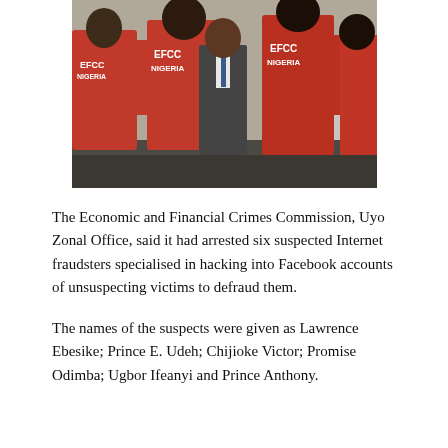[Figure (photo): Group of people wearing red EFCC NIGERIA vests photographed from behind, with one person in business attire facing them, cars visible in background.]
The Economic and Financial Crimes Commission, Uyo Zonal Office, said it had arrested six suspected Internet fraudsters specialised in hacking into Facebook accounts of unsuspecting victims to defraud them.
The names of the suspects were given as Lawrence Ebesike; Prince E. Udeh; Chijioke Victor; Promise Odimba; Ugbor Ifeanyi and Prince Anthony.